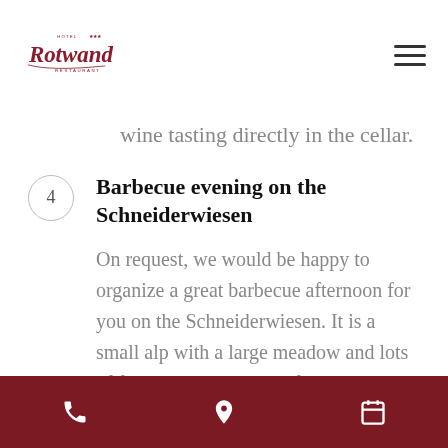Hotel Rotwand Restaurant
wine tasting directly in the cellar.
4 Barbecue evening on the Schneiderwiesen
On request, we would be happy to organize a great barbecue afternoon for you on the Schneiderwiesen. It is a small alp with a large meadow and lots of forest, in the middle of horses and
Phone | Location | Calendar